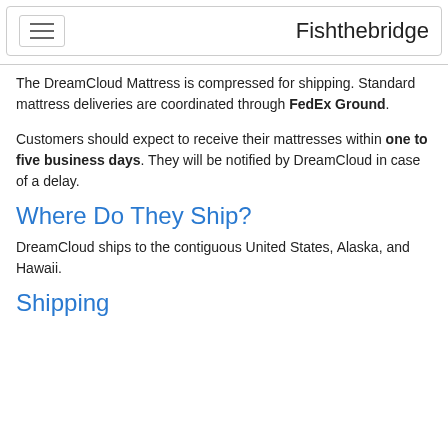Fishthebridge
The DreamCloud Mattress is compressed for shipping. Standard mattress deliveries are coordinated through FedEx Ground.
Customers should expect to receive their mattresses within one to five business days. They will be notified by DreamCloud in case of a delay.
Where Do They Ship?
DreamCloud ships to the contiguous United States, Alaska, and Hawaii.
Shipping